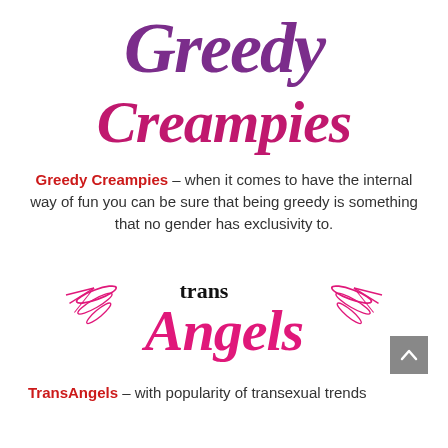[Figure (logo): Greedy Creampies logo in purple and magenta script font]
Greedy Creampies – when it comes to have the internal way of fun you can be sure that being greedy is something that no gender has exclusivity to.
[Figure (logo): TransAngels logo in hot pink script with wings and 'trans' in black serif]
TransAngels – with popularity of transexual trends